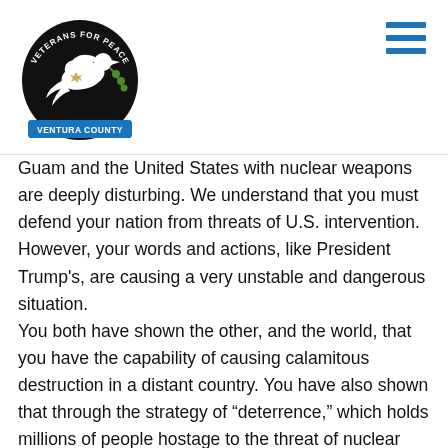Veterans for Peace - Ventura County
Guam and the United States with nuclear weapons are deeply disturbing. We understand that you must defend your nation from threats of U.S. intervention.  However, your words and actions, like President Trump’s, are causing a very unstable and dangerous situation. You both have shown the other, and the world, that you have the capability of causing calamitous destruction in a distant country.  You have also shown that through the strategy of “deterrence,” which holds millions of people hostage to the threat of nuclear war, you have so far been able to fend off an attack by the other. The point has been made.  Now is the time to start backing off.